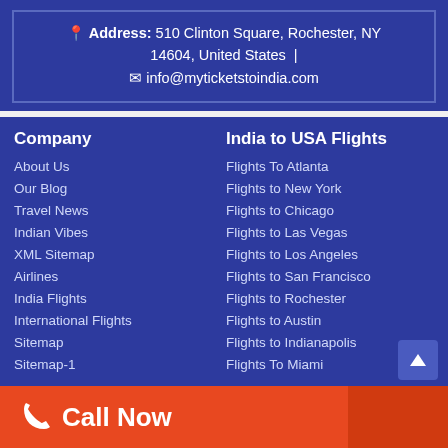Address: 510 Clinton Square, Rochester, NY 14604, United States | info@myticketstoindia.com
Company
About Us
Our Blog
Travel News
Indian Vibes
XML Sitemap
Airlines
India Flights
International Flights
Sitemap
Sitemap-1
India to USA Flights
Flights To Atlanta
Flights to New York
Flights to Chicago
Flights to Las Vegas
Flights to Los Angeles
Flights to San Francisco
Flights to Rochester
Flights to Austin
Flights to Indianapolis
Flights To Miami
Call Now